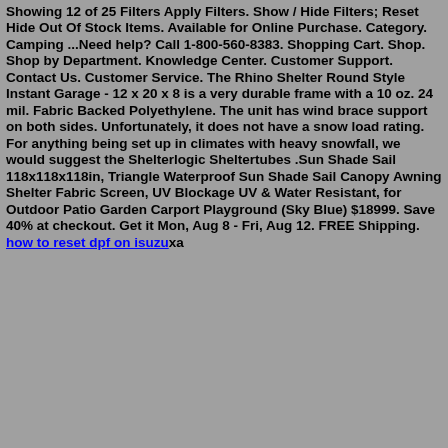Showing 12 of 25 Filters Apply Filters. Show / Hide Filters; Reset Hide Out Of Stock Items. Available for Online Purchase. Category. Camping ...Need help? Call 1-800-560-8383. Shopping Cart. Shop. Shop by Department. Knowledge Center. Customer Support. Contact Us. Customer Service. The Rhino Shelter Round Style Instant Garage - 12 x 20 x 8 is a very durable frame with a 10 oz. 24 mil. Fabric Backed Polyethylene. The unit has wind brace support on both sides. Unfortunately, it does not have a snow load rating. For anything being set up in climates with heavy snowfall, we would suggest the Shelterlogic Sheltertubes .Sun Shade Sail 118x118x118in, Triangle Waterproof Sun Shade Sail Canopy Awning Shelter Fabric Screen, UV Blockage UV & Water Resistant, for Outdoor Patio Garden Carport Playground (Sky Blue) $18999. Save 40% at checkout. Get it Mon, Aug 8 - Fri, Aug 12. FREE Shipping. how to reset dpf on isuzuxa